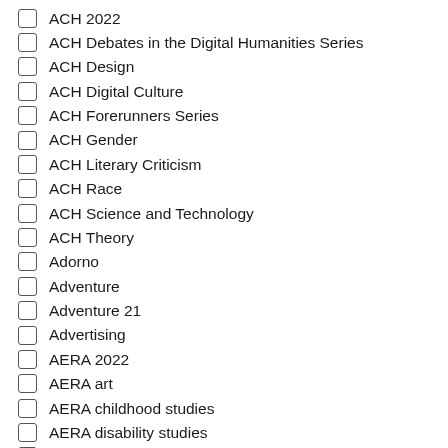ACH 2022
ACH Debates in the Digital Humanities Series
ACH Design
ACH Digital Culture
ACH Forerunners Series
ACH Gender
ACH Literary Criticism
ACH Race
ACH Science and Technology
ACH Theory
Adorno
Adventure
Adventure 21
Advertising
AERA 2022
AERA art
AERA childhood studies
AERA disability studies
AERA ethnography
AERA gender